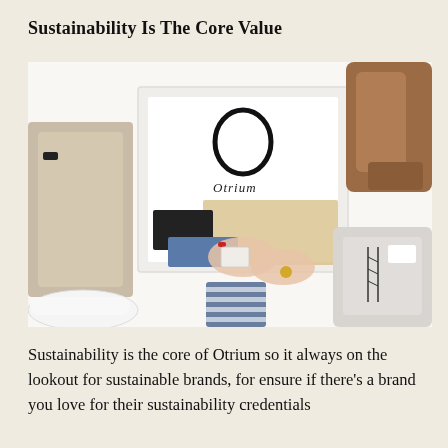Sustainability Is The Core Value
[Figure (photo): Overhead view of an Otrium branded white box open with clothing items inside, surrounded by fashion items including a beige jacket, white sneakers, brown heeled boots, and a grey knit sweater. A person's hands with red nail polish are visible unpacking the box.]
Sustainability is the core of Otrium so it always on the lookout for sustainable brands, for ensure if there's a brand you love for their sustainability credentials